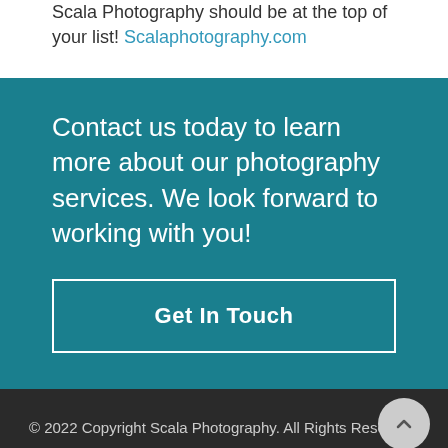Scala Photography should be at the top of your list! Scalaphotography.com
Contact us today to learn more about our photography services. We look forward to working with you!
Get In Touch
© 2022 Copyright Scala Photography. All Rights Reserved.